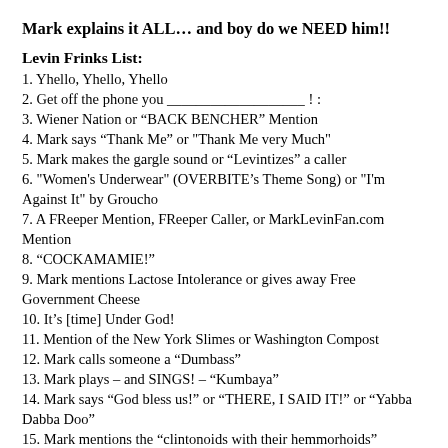Mark explains it ALL… and boy do we NEED him!!
Levin Frinks List:
1. Yhello, Yhello, Yhello
2. Get off the phone you ___________________ ! :
3. Wiener Nation or “BACK BENCHER” Mention
4. Mark says “Thank Me” or "Thank Me very Much"
5. Mark makes the gargle sound or “Levintizes” a caller
6. "Women's Underwear" (OVERBITE’s Theme Song) or "I'm Against It" by Groucho
7. A FReeper Mention, FReeper Caller, or MarkLevinFan.com Mention
8. “COCKAMAMIE!”
9. Mark mentions Lactose Intolerance or gives away Free Government Cheese
10. It’s [time] Under God!
11. Mention of the New York Slimes or Washington Compost
12. Mark calls someone a “Dumbass”
13. Mark plays – and SINGS! – “Kumbaya”
14. Mark says “God bless us!” or “THERE, I SAID IT!” or “Yabba Dabba Doo”
15. Mark mentions the “clintonoids with their hemmorhoids”